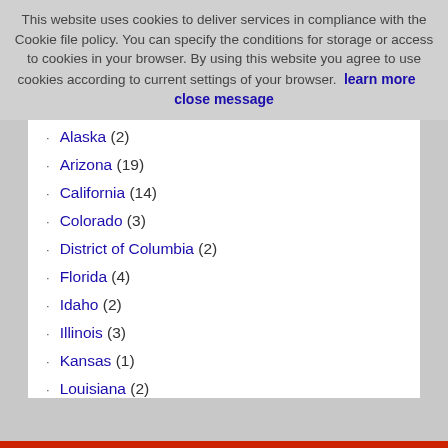This website uses cookies to deliver services in compliance with the Cookie file policy. You can specify the conditions for storage or access to cookies in your browser. By using this website you agree to use cookies according to current settings of your browser.  learn more     close message
Alaska (2)
Arizona (19)
California (14)
Colorado (3)
District of Columbia (2)
Florida (4)
Idaho (2)
Illinois (3)
Kansas (1)
Louisiana (2)
Massachusetts (2)
Missouri (1)
Montana (4)
Nevada (5)
New Mexico (1)